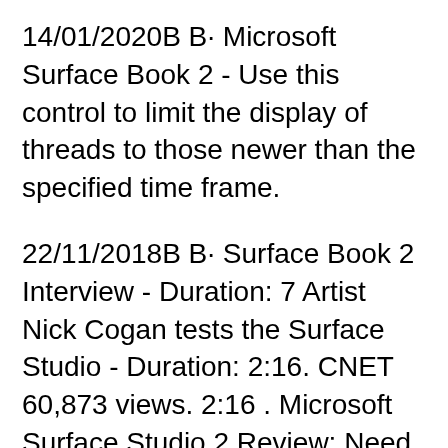14/01/2020В В· Microsoft Surface Book 2 - Use this control to limit the display of threads to those newer than the specified time frame.
22/11/2018В В· Surface Book 2 Interview - Duration: 7 Artist Nick Cogan tests the Surface Studio - Duration: 2:16. CNET 60,873 views. 2:16 . Microsoft Surface Studio 2 Review: Need it вЋ¦ 16/11/2017В В· Microsoft's Surface Book 2 bridges the gap between laptop and desktop but with a starting price of $2499, is it worth the expense? Full Review: https://www.p...
16/11/2017В В· Sarah Tew/CNET None of those fundamental questions are